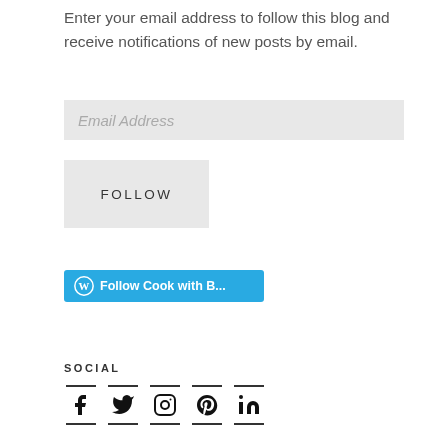Enter your email address to follow this blog and receive notifications of new posts by email.
[Figure (other): Email Address input field (light gray background)]
[Figure (other): FOLLOW button (light gray background, uppercase spaced letters)]
[Figure (other): Blue WordPress Follow button labeled 'Follow Cook with B...']
SOCIAL
[Figure (other): Social media icons: Facebook, Twitter, Instagram, Pinterest, LinkedIn, each with a dash line above and below]